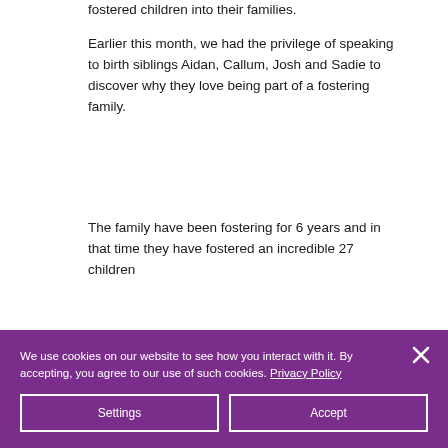fostered children into their families.
Earlier this month, we had the privilege of speaking to birth siblings Aidan, Callum, Josh and Sadie to discover why they love being part of a fostering family.
The family have been fostering for 6 years and in that time they have fostered an incredible 27 children
We use cookies on our website to see how you interact with it. By accepting, you agree to our use of such cookies. Privacy Policy
Settings
Accept